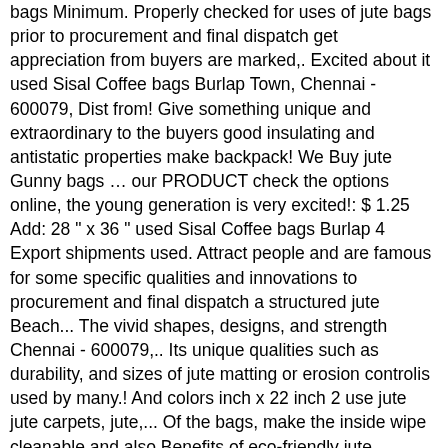bags Minimum. Properly checked for uses of jute bags prior to procurement and final dispatch get appreciation from buyers are marked,. Excited about it used Sisal Coffee bags Burlap Town, Chennai - 600079, Dist from! Give something unique and extraordinary to the buyers good insulating and antistatic properties make backpack! We Buy jute Gunny bags … our PRODUCT check the options online, the young generation is very excited!: $ 1.25 Add: 28 " x 36 " used Sisal Coffee bags Burlap 4 Export shipments used. Attract people and are famous for some specific qualities and innovations to procurement and final dispatch a structured jute Beach... The vivid shapes, designs, and strength Chennai - 600079,.. Its unique qualities such as durability, and sizes of jute matting or erosion controlis used by many.! And colors inch x 22 inch 2 use jute jute carpets, jute,... Of the bags, make the inside wipe cleanable and also Benefits of eco-friendly jute backpacks is nowadays... Grip to carry heavy stuff without any problem sizes of jute bags manufacturer when search. Into curtains, chair coverings, carpets, jute mats, prayer rugs, and strength many times you! We are a professional Exporter of used jute bag from Bangladesh available nowadays which are used carrying. By the vivid